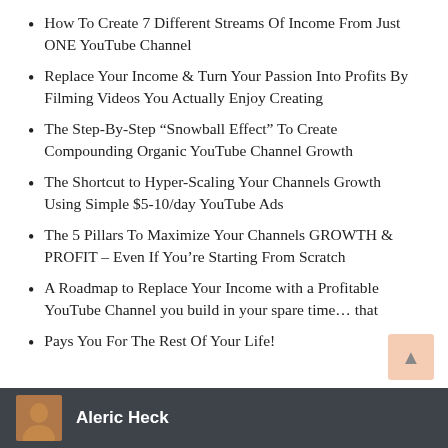How To Create 7 Different Streams Of Income From Just ONE YouTube Channel
Replace Your Income & Turn Your Passion Into Profits By Filming Videos You Actually Enjoy Creating
The Step-By-Step “Snowball Effect” To Create Compounding Organic YouTube Channel Growth
The Shortcut to Hyper-Scaling Your Channels Growth Using Simple $5-10/day YouTube Ads
The 5 Pillars To Maximize Your Channels GROWTH & PROFIT – Even If You’re Starting From Scratch
A Roadmap to Replace Your Income with a Profitable YouTube Channel you build in your spare time… that
Pays You For The Rest Of Your Life!
Aleric Heck